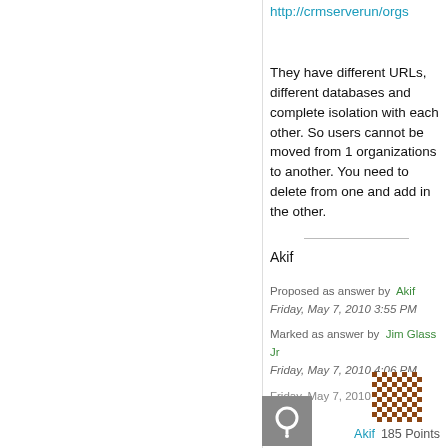http://crmserverun/orgs
They have different URLs, different databases and complete isolation with each other. So users cannot be moved from 1 organizations to another. You need to delete from one and add in the other.
Akif
Proposed as answer by  Akif
Friday, May 7, 2010 3:55 PM
Marked as answer by  Jim Glass Jr
Friday, May 7, 2010 4:06 PM
Friday, May 7, 2010 3:55 PM
[Figure (other): Checkerboard pattern avatar icon for user Akif with 185 Points label]
[Figure (other): Gray square avatar icon with white Q letter at bottom of page]